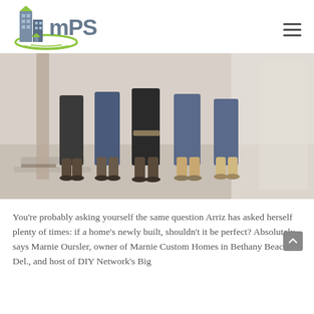[Figure (logo): MPS logo with stylized buildings icon in blue/grey and green oval, with text 'mPS' in blue-grey]
[Figure (photo): Construction workers standing together on a job site, viewed from waist down, wearing work boots and jeans]
You're probably asking yourself the same question Arriz has asked herself plenty of times: if a home's newly built, shouldn't it be perfect? Absolutely, says Marnie Oursler, owner of Marnie Custom Homes in Bethany Beach, Del., and host of DIY Network's Big